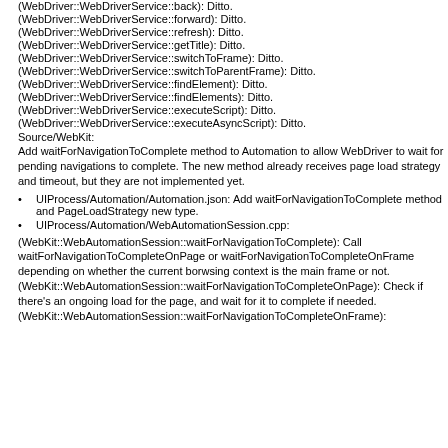(WebDriver::WebDriverService::back): Ditto.
(WebDriver::WebDriverService::forward): Ditto.
(WebDriver::WebDriverService::refresh): Ditto.
(WebDriver::WebDriverService::getTitle): Ditto.
(WebDriver::WebDriverService::switchToFrame): Ditto.
(WebDriver::WebDriverService::switchToParentFrame): Ditto.
(WebDriver::WebDriverService::findElement): Ditto.
(WebDriver::WebDriverService::findElements): Ditto.
(WebDriver::WebDriverService::executeScript): Ditto.
(WebDriver::WebDriverService::executeAsyncScript): Ditto.
Source/WebKit:
Add waitForNavigationToComplete method to Automation to allow WebDriver to wait for pending navigations to complete. The new method already receives page load strategy and timeout, but they are not implemented yet.
UIProcess/Automation/Automation.json: Add waitForNavigationToComplete method and PageLoadStrategy new type.
UIProcess/Automation/WebAutomationSession.cpp:
(WebKit::WebAutomationSession::waitForNavigationToComplete): Call waitForNavigationToCompleteOnPage or waitForNavigationToCompleteOnFrame depending on whether the current borwsing context is the main frame or not.
(WebKit::WebAutomationSession::waitForNavigationToCompleteOnPage): Check if there's an ongoing load for the page, and wait for it to complete if needed.
(WebKit::WebAutomationSession::waitForNavigationToCompleteOnFrame):